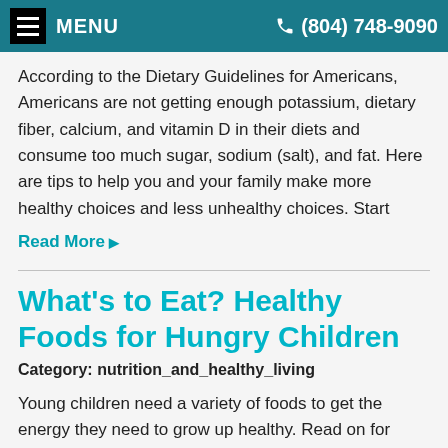MENU  (804) 748-9090
According to the Dietary Guidelines for Americans, Americans are not getting enough potassium, dietary fiber, calcium, and vitamin D in their diets and consume too much sugar, sodium (salt), and fat. Here are tips to help you and your family make more healthy choices and less unhealthy choices. Start
Read More ▶
What's to Eat? Healthy Foods for Hungry Children
Category: nutrition_and_healthy_living
Young children need a variety of foods to get the energy they need to grow up healthy. Read on for information from the American Academy of Pediatrics (AAP) on nutrition and